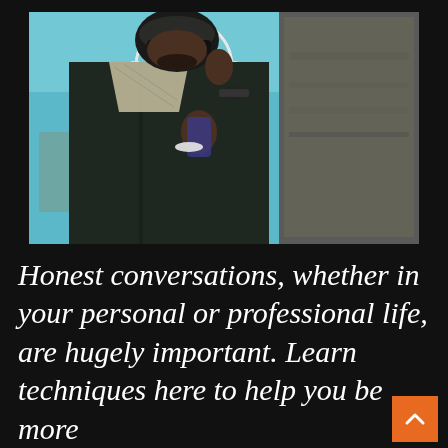[Figure (photo): Two men conversing outdoors near a Ferris wheel. The man on the left is a Black man wearing sunglasses, a knit cap, a patterned scarf, and a dark jacket, holding a phone and smiling. The man on the right is seen from behind wearing a denim jacket. Background shows a light blue sky and a Ferris wheel.]
Honest conversations, whether in your personal or professional life, are hugely important. Learn techniques here to help you be more